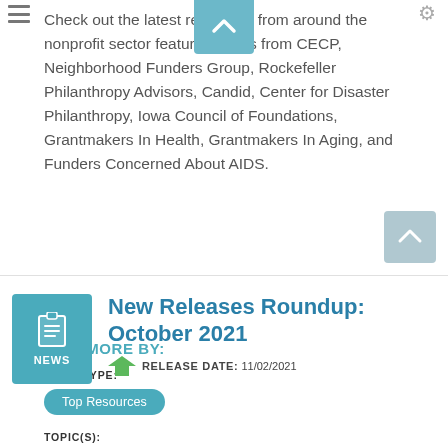Check out the latest resources from around the nonprofit sector featuring items from CECP, Neighborhood Funders Group, Rockefeller Philanthropy Advisors, Candid, Center for Disaster Philanthropy, Iowa Council of Foundations, Grantmakers In Health, Grantmakers In Aging, and Funders Concerned About AIDS.
FIND MORE BY:
NEWS TYPE:
Top Resources
TOPIC(S):
Communications
New Releases Roundup: October 2021
RELEASE DATE: 11/02/2021